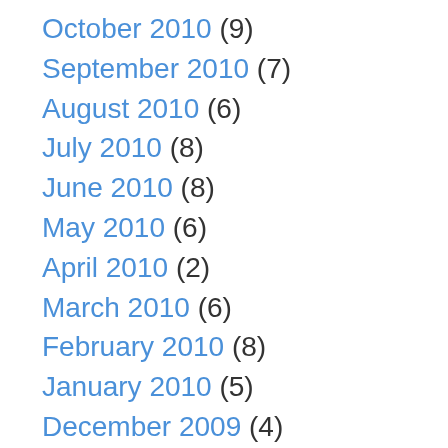October 2010 (9)
September 2010 (7)
August 2010 (6)
July 2010 (8)
June 2010 (8)
May 2010 (6)
April 2010 (2)
March 2010 (6)
February 2010 (8)
January 2010 (5)
December 2009 (4)
November 2009 (7)
October 2009 (6)
September 2009 (7)
August 2009 (9)